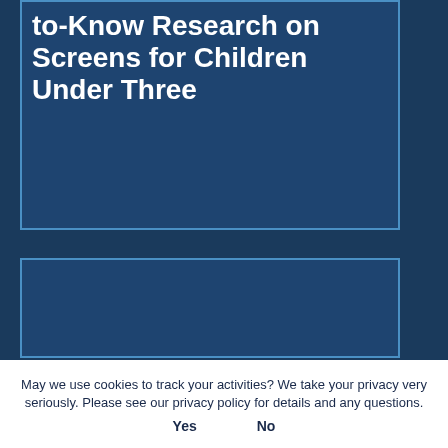to-Know Research on Screens for Children Under Three
[Figure (other): Dark blue card panel (bottom), partially visible, with blue border]
May we use cookies to track your activities? We take your privacy very seriously. Please see our privacy policy for details and any questions.
Yes    No